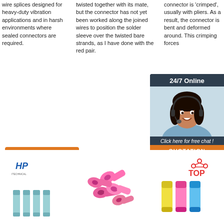wire splices designed for heavy-duty vibration applications and in harsh environments where sealed connectors are required.
twisted together with its mate, but the connector has not yet been worked along the joined wires to position the solder sleeve over the twisted bare strands, as I have done with the red pair.
connector is 'crimped', usually with pliers. As a result, the connector is bent and deformed around... This crimping forces
[Figure (infographic): 24/7 Online chat widget with woman wearing headset and orange QUOTATION button]
[Figure (photo): Small blue-green wire connectors (solder sleeve type) with HP logo above]
[Figure (photo): Several pink ring terminal wire connectors scattered]
[Figure (photo): Colorful solder sleeve connectors in yellow, pink, blue with TOP badge]